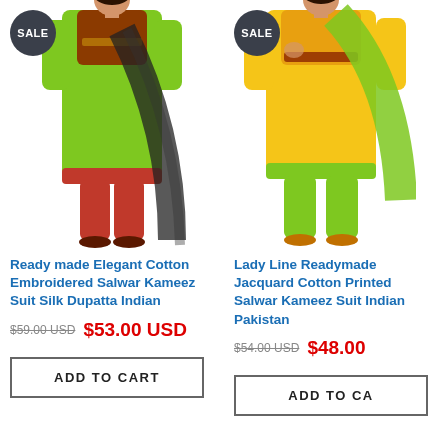[Figure (photo): Woman wearing green and brown cotton embroidered salwar kameez suit with black silk dupatta, shown full length]
Ready made Elegant Cotton Embroidered Salwar Kameez Suit Silk Dupatta Indian
$59.00 USD  $53.00 USD
ADD TO CART
[Figure (photo): Woman wearing yellow and green jacquard cotton printed salwar kameez suit, shown partial (right side cropped)]
Lady Line Readymade Jacquard Cotton Printed Salwar Kameez Suit Indian Pakistan
$54.00 USD  $48.00
ADD TO CART